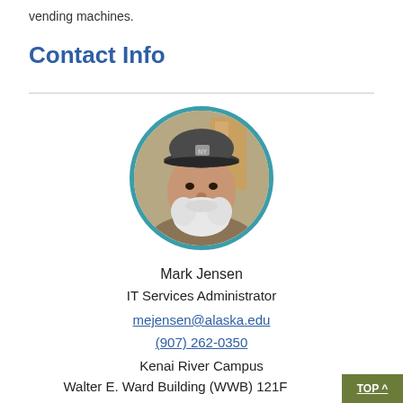vending machines.
Contact Info
[Figure (photo): Circular portrait photo of Mark Jensen, a man with a white beard wearing a dark baseball cap with an NY Giants logo, with a teal circular border.]
Mark Jensen
IT Services Administrator
mejensen@alaska.edu
(907) 262-0350
Kenai River Campus
Walter E. Ward Building (WWB) 121F